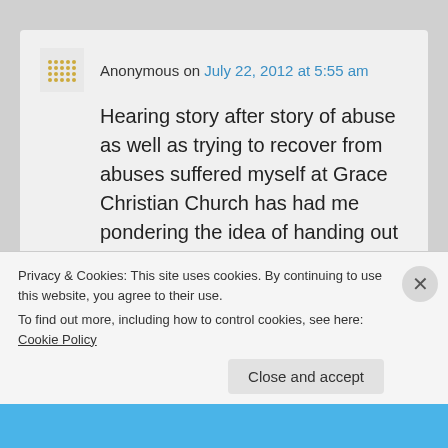Anonymous on July 22, 2012 at 5:55 am
Hearing story after story of abuse as well as trying to recover from abuses suffered myself at Grace Christian Church has had me pondering the idea of handing out flyers or leaflets to CSU students on campus during the first week of class this coming fall semester warning them to steer clear of this organization and their staff and...
Privacy & Cookies: This site uses cookies. By continuing to use this website, you agree to their use.
To find out more, including how to control cookies, see here: Cookie Policy
Close and accept